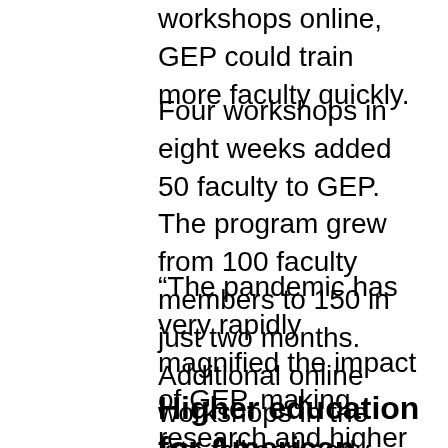workshops online, GEP could train more faculty quickly.
Four workshops in eight weeks added 50 faculty to GEP. The program grew from 100 faculty members to 150 in just two months. Additional online workshops in the late fall and early spring added another 30 new members.
“The pandemic has very rapidly magnified the impact of GEP, making research and higher education accessible in virtual spaces,” said Reed.
Higher education for American students